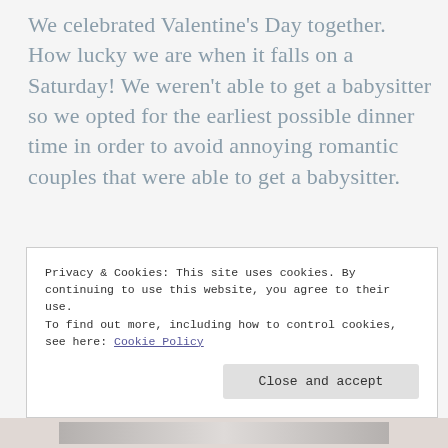We celebrated Valentine's Day together. How lucky we are when it falls on a Saturday!  We weren't able to get a babysitter so we opted for the earliest possible dinner time in order to avoid annoying romantic couples that were able to get a babysitter.
[Figure (photo): Close-up photo of a baby or child's lower face with lips, possibly holding or near a pink/red candy or raspberry]
Privacy & Cookies: This site uses cookies. By continuing to use this website, you agree to their use.
To find out more, including how to control cookies, see here: Cookie Policy
Close and accept